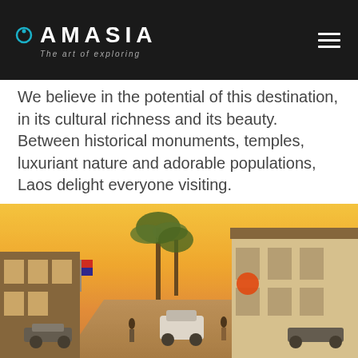AMASIA — The art of exploring
We believe in the potential of this destination, in its cultural richness and its beauty. Between historical monuments, temples, luxuriant nature and adorable populations, Laos delight everyone visiting.
[Figure (photo): Street scene in Luang Prabang, Laos at sunset. Colonial-style buildings on the right, palm trees in the background, motorbikes parked along the street, warm orange sky.]